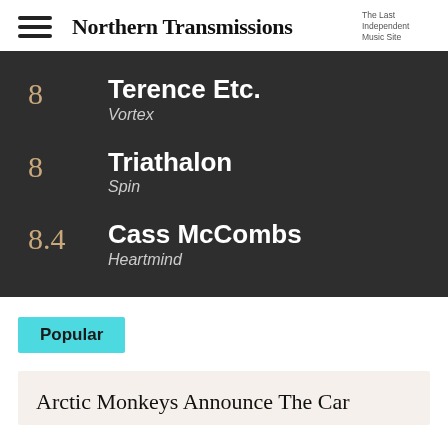Northern Transmissions — The Last Independent Music Site
8 — Terence Etc. — Vortex
8 — Triathalon — Spin
8.4 — Cass McCombs — Heartmind
Popular
Arctic Monkeys Announce The Car